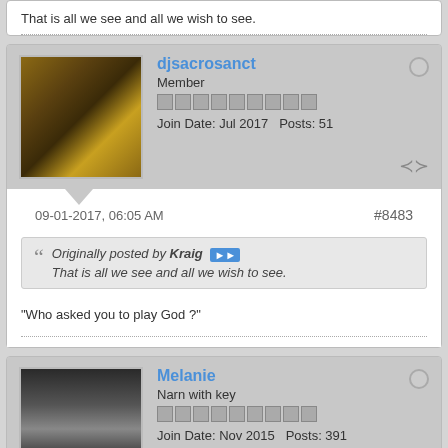That is all we see and all we wish to see.
djsacrosanct
Member
Join Date: Jul 2017   Posts: 51
09-01-2017, 06:05 AM
#8483
Originally posted by Kraig
That is all we see and all we wish to see.
"Who asked you to play God ?"
Melanie
Narn with key
Join Date: Nov 2015   Posts: 391